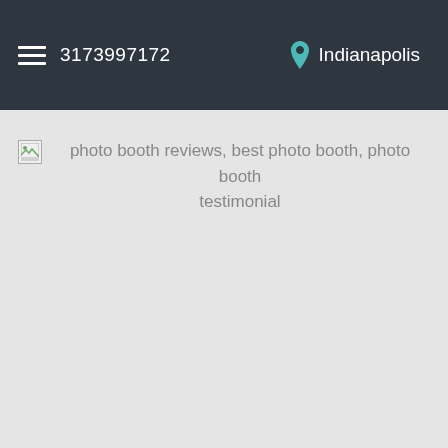3173997172   Indianapolis
[Figure (photo): Broken image placeholder with alt text: photo booth reviews, best photo booth, photo booth testimonial]